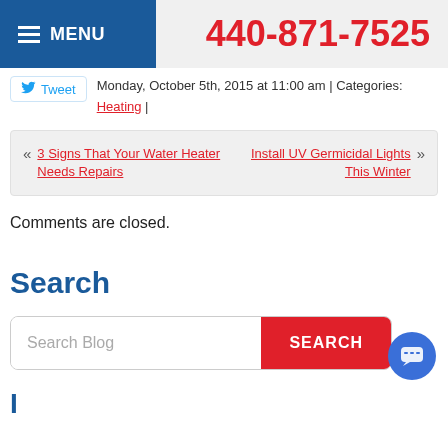MENU | 440-871-7525
Monday, October 5th, 2015 at 11:00 am | Categories: Heating |
« 3 Signs That Your Water Heater Needs Repairs   Install UV Germicidal Lights This Winter »
Comments are closed.
Search
Search Blog [SEARCH button]